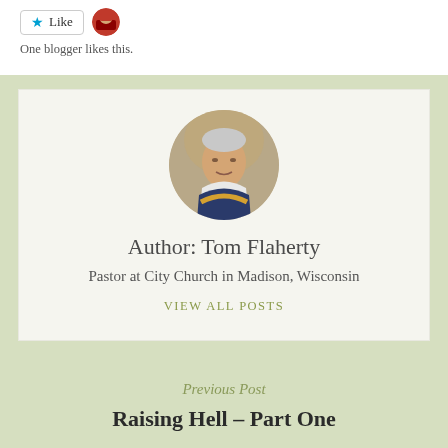[Figure (other): Like button with star icon and small avatar of a blogger with red hat]
One blogger likes this.
[Figure (photo): Circular headshot photo of Tom Flaherty, a man in a striped polo shirt]
Author: Tom Flaherty
Pastor at City Church in Madison, Wisconsin
VIEW ALL POSTS
Previous Post
Raising Hell – Part One